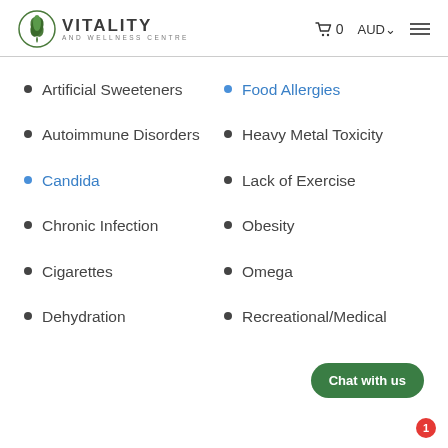[Figure (logo): Vitality and Wellness Centre logo with green leaf icon]
Artificial Sweeteners
Food Allergies
Autoimmune Disorders
Heavy Metal Toxicity
Candida
Lack of Exercise
Chronic Infection
Obesity
Cigarettes
Omega
Dehydration
Recreational/Medical